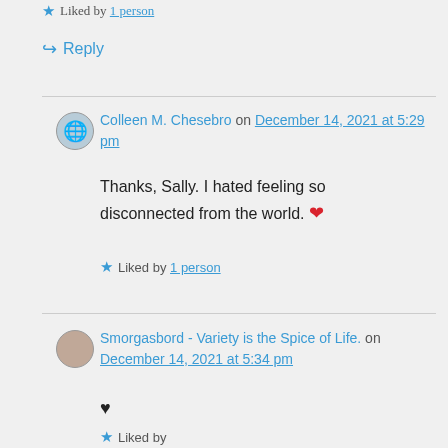Liked by 1 person
Reply
Colleen M. Chesebro on December 14, 2021 at 5:29 pm
Thanks, Sally. I hated feeling so disconnected from the world. ❤
Liked by 1 person
Smorgasbord - Variety is the Spice of Life. on December 14, 2021 at 5:34 pm
♥
Liked by 1 person